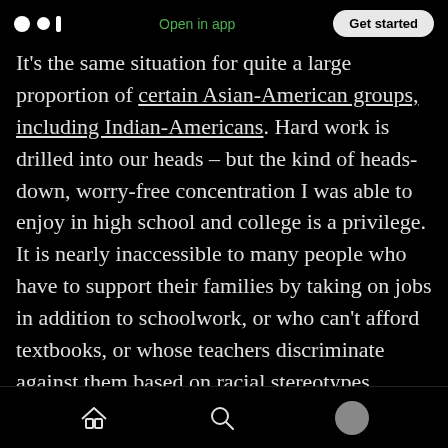Medium logo | Open in app | Get started
It’s the same situation for quite a large proportion of certain Asian-American groups, including Indian-Americans. Hard work is drilled into our heads – but the kind of heads-down, worry-free concentration I was able to enjoy in high school and college is a privilege. It is nearly inaccessible to many people who have to support their families by taking on jobs in addition to schoolwork, or who can’t afford textbooks, or whose teachers discriminate against them based on racial stereotypes. Those families, by the way, include a large number of Asians – income
Home | Search | Profile